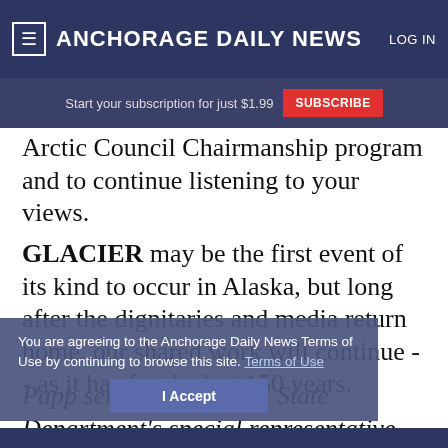ANCHORAGE DAILY NEWS  LOG IN
Start your subscription for just $1.99  SUBSCRIBE
Arctic Council Chairmanship program and to continue listening to your views.
GLACIER may be the first event of its kind to occur in Alaska, but long after the dignitaries and media return home, our shared work will continue -- as it has for the last 150 years.
You are agreeing to the Anchorage Daily News Terms of Use by continuing to browse this site. Terms of Use
Papp served as the U.S. State Department's special representative for the Arctic in July of 2014. Prior to his appointment, Papp served as
I Accept